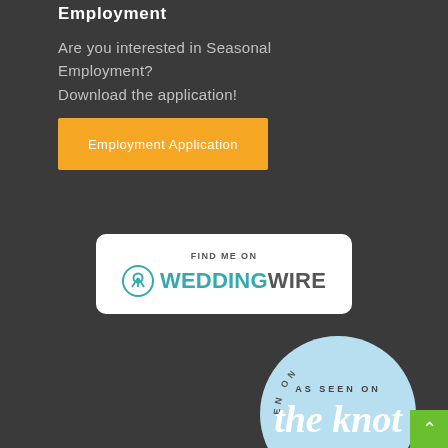Employment
Are you interested in Seasonal Employment?
Download the application!
Employment Application
[Figure (logo): Find Me on WeddingWire badge — white rounded rectangle with teal WeddingWire logo and 'FIND ME ON' text above]
[Figure (logo): As Seen on The Knot badge — light blue circle with script 'the knot' text and 'THEKNOT.COM' around the bottom]